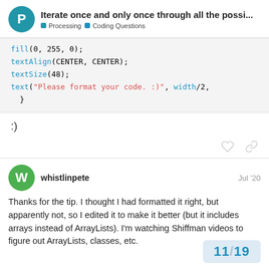Iterate once and only once through all the possi... | Processing | Coding Questions
[Figure (screenshot): Code block showing Processing/Java code: fill(0, 255, 0); textAlign(CENTER, CENTER); textSize(48); text("Please format your code. :)", width/2, ) }]
:)
whistlinpete   Jul '20
Thanks for the tip. I thought I had formatted it right, but apparently not, so I edited it to make it better (but it includes arrays instead of ArrayLists). I'm watching Shiffman videos to figure out ArrayLists, classes, etc.
11 / 19